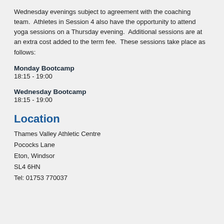Wednesday evenings subject to agreement with the coaching team.  Athletes in Session 4 also have the opportunity to attend yoga sessions on a Thursday evening.  Additional sessions are at an extra cost added to the term fee.  These sessions take place as follows:
Monday Bootcamp
18:15 - 19:00
Wednesday Bootcamp
18:15 - 19:00
Location
Thames Valley Athletic Centre
Pococks Lane
Eton, Windsor
SL4 6HN
Tel: 01753 770037